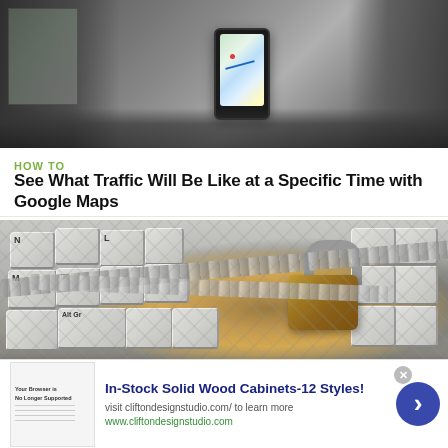[Figure (photo): Smartphone mounted in car showing Google Maps navigation, with car interior visible including dashboard and window]
HOW TO
See What Traffic Will Be Like at a Specific Time with Google Maps
[Figure (photo): Close-up of a computer keyboard with a heavy padlock and chain on it, symbolizing cybersecurity or locked/restricted access]
In-Stock Solid Wood Cabinets-12 Styles! visit cliftondesignstudio.com/ to learn more www.cliftondesignstudio.com